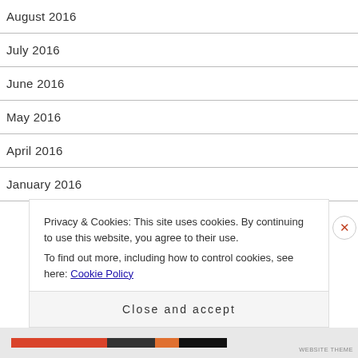August 2016
July 2016
June 2016
May 2016
April 2016
January 2016
Privacy & Cookies: This site uses cookies. By continuing to use this website, you agree to their use.
To find out more, including how to control cookies, see here: Cookie Policy
Close and accept